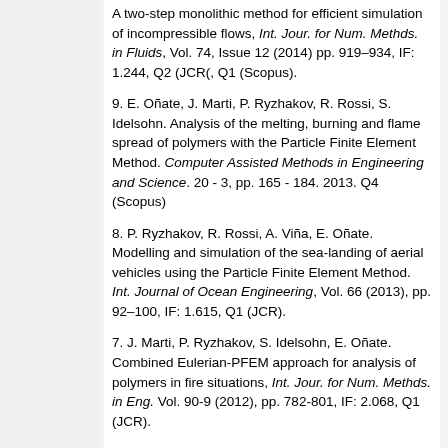A two-step monolithic method for efficient simulation of incompressible flows, Int. Jour. for Num. Methds. in Fluids, Vol. 74, Issue 12 (2014) pp. 919–934, IF: 1.244, Q2 (JCR(, Q1 (Scopus).
9. E. Oñate, J. Marti, P. Ryzhakov, R. Rossi, S. Idelsohn. Analysis of the melting, burning and flame spread of polymers with the Particle Finite Element Method. Computer Assisted Methods in Engineering and Science. 20 - 3, pp. 165 - 184. 2013. Q4 (Scopus)
8. P. Ryzhakov, R. Rossi, A. Viña, E. Oñate. Modelling and simulation of the sea-landing of aerial vehicles using the Particle Finite Element Method. Int. Journal of Ocean Engineering, Vol. 66 (2013), pp. 92–100, IF: 1.615, Q1 (JCR).
7. J. Marti, P. Ryzhakov, S. Idelsohn, E. Oñate. Combined Eulerian-PFEM approach for analysis of polymers in fire situations, Int. Jour. for Num. Methds. in Eng. Vol. 90-9 (2012), pp. 782-801, IF: 2.068, Q1 (JCR).
6. P. Ryzhakov, R. Rossi, E. Oñate, S.